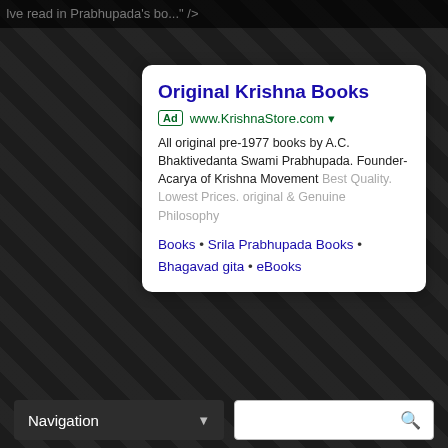Ive read in Prabhupada's bo...
Original Krishna Books
Ad  www.KrishnaStore.com
All original pre-1977 books by A.C. Bhaktivedanta Swami Prabhupada. Founder-Acarya of Krishna Movement Best Quality. Lowest Prices. original & Genuine Philosophy
Books • Srila Prabhupada Books • Bhagavad gita • eBooks
[Figure (logo): KRISHNA.ORG logo with image of Srila Prabhupada and text 'Chant and Be Happy!']
Navigation ▼
🔍